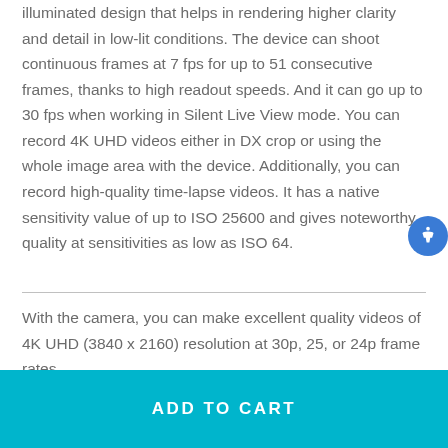illuminated design that helps in rendering higher clarity and detail in low-lit conditions. The device can shoot continuous frames at 7 fps for up to 51 consecutive frames, thanks to high readout speeds. And it can go up to 30 fps when working in Silent Live View mode. You can record 4K UHD videos either in DX crop or using the whole image area with the device. Additionally, you can record high-quality time-lapse videos. It has a native sensitivity value of up to ISO 25600 and gives noteworthy quality at sensitivities as low as ISO 64.
With the camera, you can make excellent quality videos of 4K UHD (3840 x 2160) resolution at 30p, 25, or 24p frame rates.
ADD TO CART